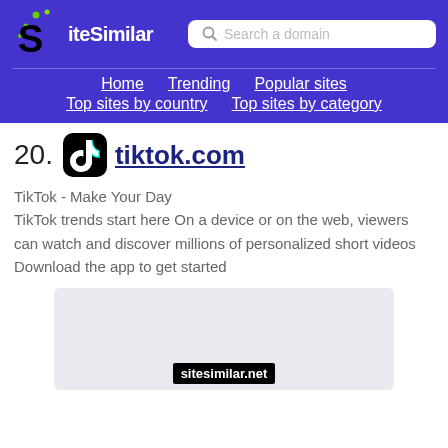SiteSimilar — Search a domain
Home | Trending | Popular sites | Top sites by country | Top sites by category
20. tiktok.com
TikTok - Make Your Day
TikTok trends start here On a device or on the web, viewers can watch and discover millions of personalized short videos Download the app to get started
[Figure (screenshot): Preview thumbnail of tiktok.com website with sitesimilar.net watermark]